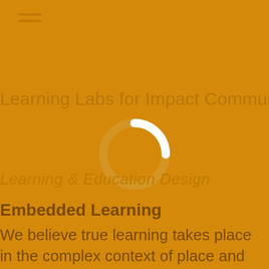[Figure (other): Hamburger menu icon with two horizontal lines]
Learning Labs for Impact Communities
[Figure (other): Loading spinner ring (circle outline, white, partially transparent arc at top)]
Learning & Education Design
Embedded Learning
We believe true learning takes place in the complex context of place and societal relationships.